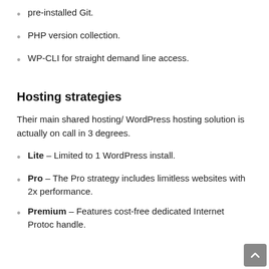pre-installed Git.
PHP version collection.
WP-CLI for straight demand line access.
Hosting strategies
Their main shared hosting/ WordPress hosting solution is actually on call in 3 degrees.
Lite – Limited to 1 WordPress install.
Pro – The Pro strategy includes limitless websites with 2x performance.
Premium – Features cost-free dedicated Internet Protocol handle.